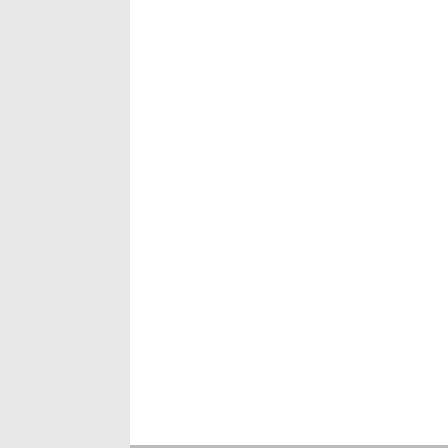going on. You are still in the 19th century. Thus the rag!
[Figure (photo): Default user avatar silhouette, gray background]
Hil Feb 26, 201 at 7:5 pm
You are one sick twisted POS. GFY!!